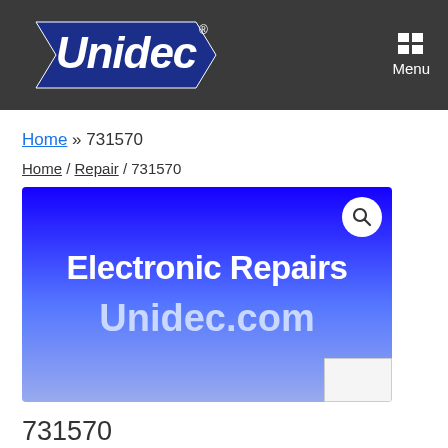Unidec® | Menu
Home » 731570
Home / Repair / 731570
[Figure (illustration): Blue gradient promotional image with white bold text reading 'Electronic Repairs Unidec.com' with a magnifying glass search icon overlay in top right corner]
731570